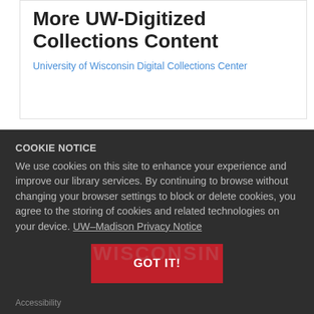More UW-Digitized Collections Content
University of Wisconsin Digital Collections Center
COOKIE NOTICE
We use cookies on this site to enhance your experience and improve our library services. By continuing to browse without changing your browser settings to block or delete cookies, you agree to the storing of cookies and related technologies on your device. UW–Madison Privacy Notice
GOT IT!
Accessibility